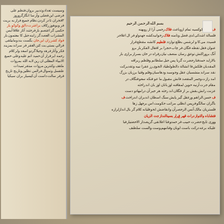[Figure (photo): Photograph of an open Islamic/Persian manuscript book. The left page shows dense black Nastaliq script with some red highlighted words and underlines. The right page is shown as a separate inset leaf with similar Arabic/Persian calligraphic text in black ink with red annotations and markers. The manuscript pages are cream/yellowed aged paper. The background is a tan/brown surface.]